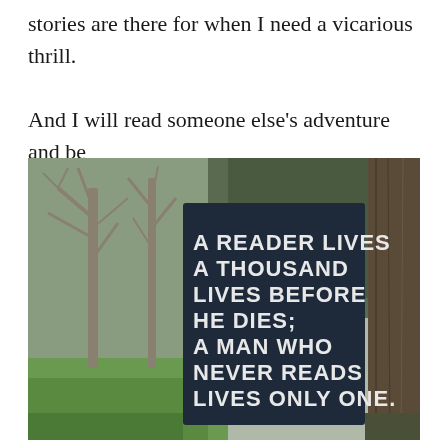stories are there for when I need a vicarious thrill. And I will read someone else's adventure and be happy.
[Figure (photo): Photograph of a forest/woodland scene with bare trees and green grass. A dark navy/black rectangular sign is propped against a large tree on the right, with white stencil-style text reading: A READER LIVES A THOUSAND LIVES BEFORE HE DIES; A MAN WHO NEVER READS LIVES ONLY ONE.]